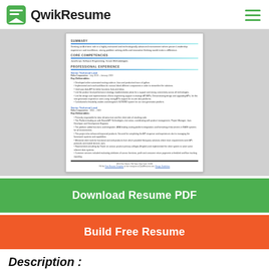QwikResume
[Figure (screenshot): Resume preview showing a professional resume with summary, core competencies, and professional experience sections including Senior Technical Lead and Senior Technical Lead roles at Delta Corporation.]
Download Resume PDF
Build Free Resume
Description :
Published code is written in ruby, moderation code is in Java and analytics code in python.